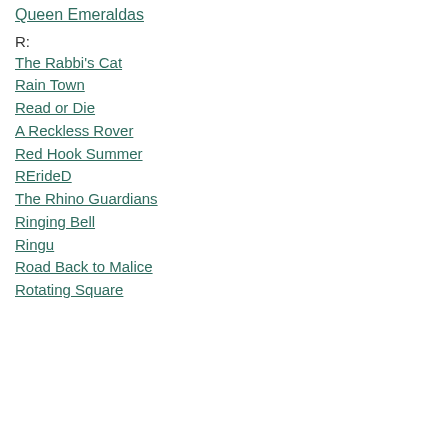Queen Emeraldas
R:
The Rabbi's Cat
Rain Town
Read or Die
A Reckless Rover
Red Hook Summer
RErideD
The Rhino Guardians
Ringing Bell
Ringu
Road Back to Malice
Rotating Square